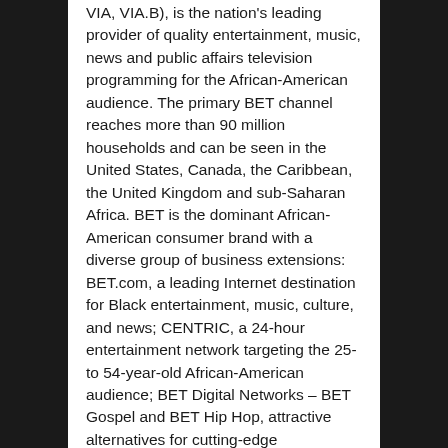VIA, VIA.B), is the nation's leading provider of quality entertainment, music, news and public affairs television programming for the African-American audience. The primary BET channel reaches more than 90 million households and can be seen in the United States, Canada, the Caribbean, the United Kingdom and sub-Saharan Africa. BET is the dominant African-American consumer brand with a diverse group of business extensions: BET.com, a leading Internet destination for Black entertainment, music, culture, and news; CENTRIC, a 24-hour entertainment network targeting the 25- to 54-year-old African-American audience; BET Digital Networks – BET Gospel and BET Hip Hop, attractive alternatives for cutting-edge entertainment tastes; BET Home Entertainment, a collection of BET-branded offerings for the home environment including DVDs and video-on-demand; BET Event Productions, a full-scale event management and production company with festivals and live events spanning the globe; BET Mobile, which provides ringtones, games and video content for wireless devices; and BET International...